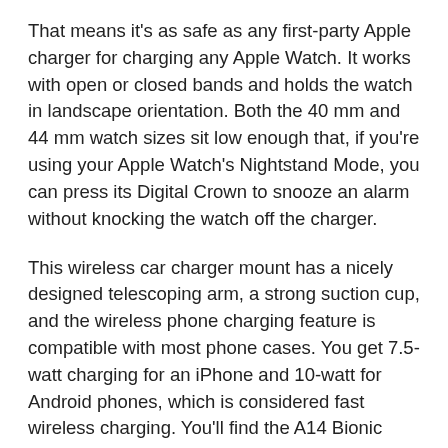That means it's as safe as any first-party Apple charger for charging any Apple Watch. It works with open or closed bands and holds the watch in landscape orientation. Both the 40 mm and 44 mm watch sizes sit low enough that, if you're using your Apple Watch's Nightstand Mode, you can press its Digital Crown to snooze an alarm without knocking the watch off the charger.
This wireless car charger mount has a nicely designed telescoping arm, a strong suction cup, and the wireless phone charging feature is compatible with most phone cases. You get 7.5-watt charging for an iPhone and 10-watt for Android phones, which is considered fast wireless charging. You'll find the A14 Bionic chip under the hood of all four devices, and both the iPhone 12 Mini and standard iPhone 12 employ a dual-camera setup. If you go pro, you'll get a third lens and up to 512GB of storage compared to 256GB in the non-Pro models. All four